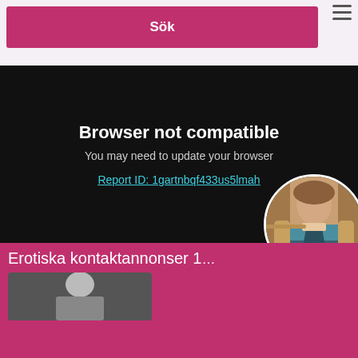Sök
[Figure (screenshot): Browser not compatible screen on black background with text: 'Browser not compatible', 'You may need to update your browser', and link 'Report ID: 1gartnbqf433us5lmah'. A circular photo of a woman is overlapping the bottom-right corner.]
Erotiska kontaktannonser 1...